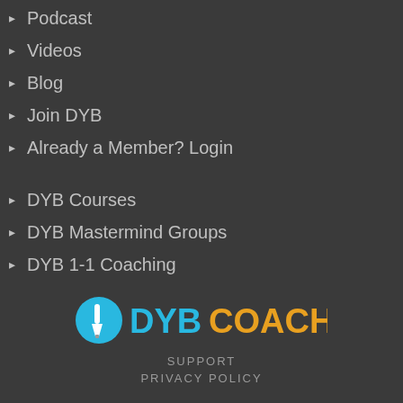Podcast
Videos
Blog
Join DYB
Already a Member? Login
DYB Courses
DYB Mastermind Groups
DYB 1-1 Coaching
[Figure (logo): DYB COACH logo with cyan circle containing a white paintbrush icon, followed by DYB in cyan and COACH in orange text]
SUPPORT
PRIVACY POLICY